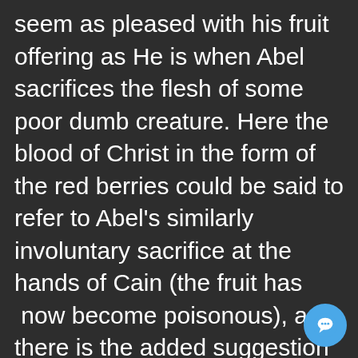(Genesis 4:5). It could be that He does not seem as pleased with his fruit offering as He is when Abel sacrifices the flesh of some poor dumb creature. Here the blood of Christ in the form of the red berries could be said to refer to Abel's similarly involuntary sacrifice at the hands of Cain (the fruit has  now become poisonous), and there is the added suggestion that the sacrifice of His son is not pleasing to God either. In other words, the body and the blood represents a tainted sacrifice which has to undergo a symbolic reassessment before its transformed